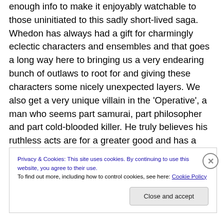enough info to make it enjoyably watchable to those uninitiated to this sadly short-lived saga. Whedon has always had a gift for charmingly eclectic characters and ensembles and that goes a long way here to bringing us a very endearing bunch of outlaws to root for and giving these characters some nicely unexpected layers. We also get a very unique villain in the 'Operative', a man who seems part samurai, part philosopher and part cold-blooded killer. He truly believes his ruthless acts are for a greater good and has a disturbingly business-like approach to killing. The contrast is Malcolm, who appears
Privacy & Cookies: This site uses cookies. By continuing to use this website, you agree to their use. To find out more, including how to control cookies, see here: Cookie Policy
Close and accept